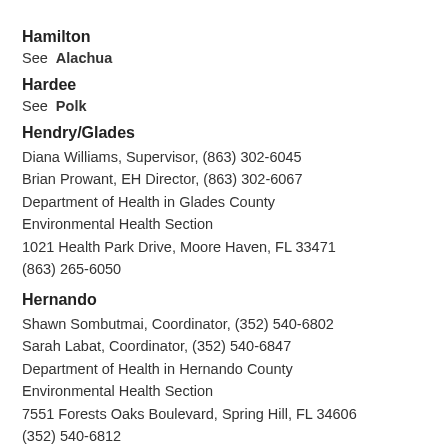Hamilton
See Alachua
Hardee
See Polk
Hendry/Glades
Diana Williams, Supervisor, (863) 302-6045
Brian Prowant, EH Director, (863) 302-6067
Department of Health in Glades County
Environmental Health Section
1021 Health Park Drive, Moore Haven, FL 33471
(863) 265-6050
Hernando
Shawn Sombutmai, Coordinator, (352) 540-6802
Sarah Labat, Coordinator, (352) 540-6847
Department of Health in Hernando County
Environmental Health Section
7551 Forests Oaks Boulevard, Spring Hill, FL 34606
(352) 540-6812